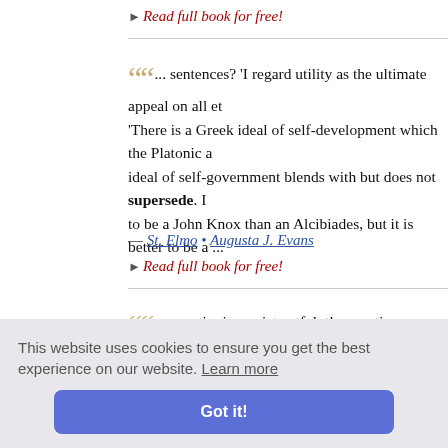▸ Read full book for free!
"... sentences? 'I regard utility as the ultimate appeal on all et 'There is a Greek ideal of self-development which the Platonic ideal of self-government blends with but does not supersede. to be a John Knox than an Alcibiades, but it is better to be a ..."
— St. Elmo • Augusta J. Evans
▸ Read full book for free!
"... questioning, mistrustful; the emotions are blind, hopeful, reasoning, exacting, demonstrating; the other, believing, inspiri intellect sees, the emotions feel; and, though these functions m
Plain Engli
This website uses cookies to ensure you get the best experience on our website. Learn more
Got it!
ultimate r ave devote solve the problem of its application should not be discouraged